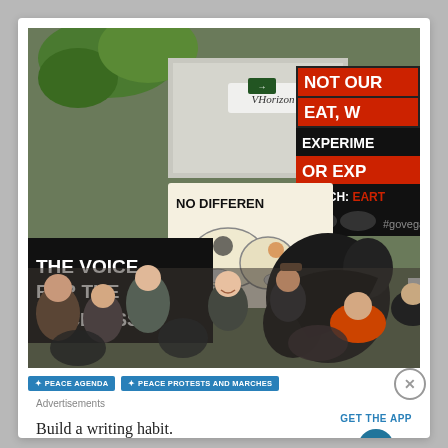[Figure (photo): Crowd at a vegan/animal rights protest march. Protesters hold signs reading 'NO DIFFERENCE' (with a drawing of a dog and cow), 'THE VOICE FOR THE VOICELESS', 'NOT OUR EAT, W... EXPERIME... OR EXP...', 'WATCH: EART...', '#govega...', 'YOU CA... AY YO... NIMAL... YOU EA...', 'INDUS TRI...'. A person holds a large black megaphone/bullhorn in the center. Crowd of diverse people visible.]
PEACE AGENDA
PEACE PROTESTS AND MARCHES
Advertisements
Build a writing habit.
Post on the go.
GET THE APP